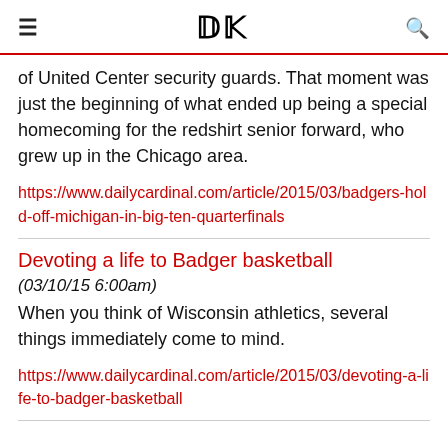DC
of United Center security guards. That moment was just the beginning of what ended up being a special homecoming for the redshirt senior forward, who grew up in the Chicago area.
https://www.dailycardinal.com/article/2015/03/badgers-hold-off-michigan-in-big-ten-quarterfinals
Devoting a life to Badger basketball
(03/10/15 6:00am)
When you think of Wisconsin athletics, several things immediately come to mind.
https://www.dailycardinal.com/article/2015/03/devoting-a-life-to-badger-basketball